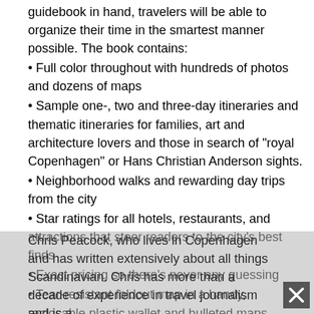guidebook in hand, travelers will be able to organize their time in the smartest manner possible. The book contains:
Full color throughout with hundreds of photos and dozens of maps
Sample one-, two and three-day itineraries and thematic itineraries for families, art and architecture lovers and those in search of “royal Copenhagen” or Hans Christian Anderson sights.
Neighborhood walks and rewarding day trips from the city
Star ratings for all hotels, restaurants, and attractions that steer readers to the city’s best finds
Exact pricing so there’s never any guessing
Tear-resistant foldout map in a handy, reclosable plastic wallet and bulleted maps throughout that lead the read through the city
To do all this, we have called upon the considerable talents of
Chris Peacock, who lives in Copenhagen and has written extensively about all things Scandinavian. Chris has more than a decade of experience in travel journalism and is a